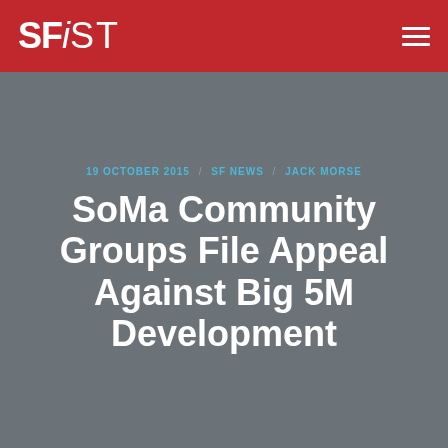SFiST
19 OCTOBER 2015 / SF NEWS / JACK MORSE
SoMa Community Groups File Appeal Against Big 5M Development